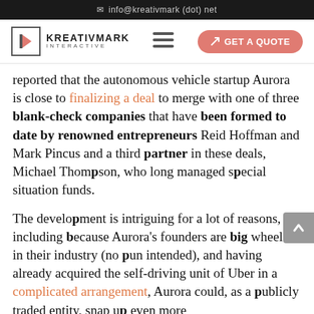✉ info@kreativmark (dot) net
[Figure (logo): Kreativmark Interactive logo with hamburger menu and Get A Quote button]
reported that the autonomous vehicle startup Aurora is close to finalizing a deal to merge with one of three blank-check companies that have been formed to date by renowned entrepreneurs Reid Hoffman and Mark Pincus and a third partner in these deals, Michael Thompson, who long managed special situation funds.
The development is intriguing for a lot of reasons, including because Aurora's founders are big wheels in their industry (no pun intended), and having already acquired the self-driving unit of Uber in a complicated arrangement, Aurora could, as a publicly traded entity, snap up even more